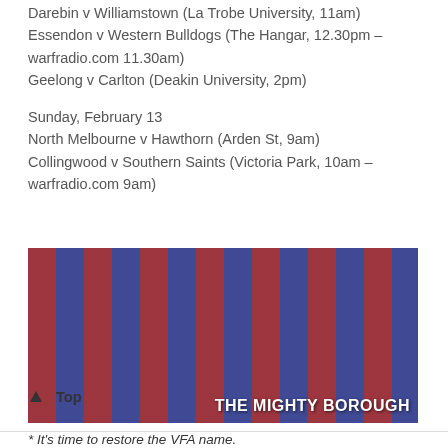Darebin v Williamstown (La Trobe University, 11am)
Essendon v Western Bulldogs (The Hangar, 12.30pm – warfradio.com 11.30am)
Geelong v Carlton (Deakin University, 2pm)
Sunday, February 13
North Melbourne v Hawthorn (Arden St, 9am)
Collingwood v Southern Saints (Victoria Park, 10am – warfradio.com 9am)
[Figure (photo): Group of footballers in red and blue vertical striped jerseys with V logo, photo captioned THE MIGHTY BOROUGH]
* It's time to restore the VFA name.
↑ Top